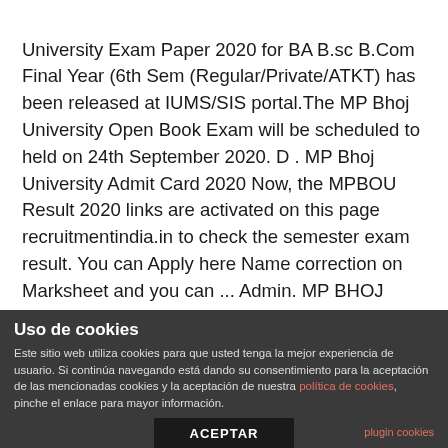University Exam Paper 2020 for BA B.sc B.Com Final Year (6th Sem (Regular/Private/ATKT) has been released at IUMS/SIS portal.The MP Bhoj University Open Book Exam will be scheduled to held on 24th September 2020. D . MP Bhoj University Admit Card 2020 Now, the MPBOU Result 2020 links are activated on this page recruitmentindia.in to check the semester exam result. You can Apply here Name correction on Marksheet and you can ... Admin. MP BHOJ Question paper 2020 pdf: MP Bhoj Open University is going to upload the Open Book Exam Question papers for BA, B.COm, B.SC final year Examination 2020.The MP Bhoj Question paper 2020 will be available to download at 10:00 AM on 24th
Uso de cookies
Este sitio web utiliza cookies para que usted tenga la mejor experiencia de usuario. Si continúa navegando está dando su consentimiento para la aceptación de las mencionadas cookies y la aceptación de nuestra política de cookies, pinche el enlace para mayor información.
ACEPTAR
plugin cookies